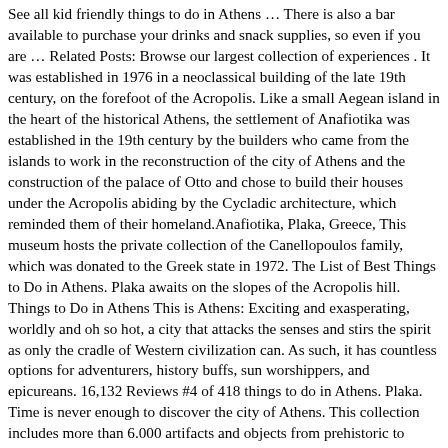See all kid friendly things to do in Athens … There is also a bar available to purchase your drinks and snack supplies, so even if you are … Related Posts: Browse our largest collection of experiences . It was established in 1976 in a neoclassical building of the late 19th century, on the forefoot of the Acropolis. Like a small Aegean island in the heart of the historical Athens, the settlement of Anafiotika was established in the 19th century by the builders who came from the islands to work in the reconstruction of the city of Athens and the construction of the palace of Otto and chose to build their houses under the Acropolis abiding by the Cycladic architecture, which reminded them of their homeland.Anafiotika, Plaka, Greece, This museum hosts the private collection of the Canellopoulos family, which was donated to the Greek state in 1972. The List of Best Things to Do in Athens. Plaka awaits on the slopes of the Acropolis hill. Things to Do in Athens This is Athens: Exciting and exasperating, worldly and oh so hot, a city that attacks the senses and stirs the spirit as only the cradle of Western civilization can. As such, it has countless options for adventurers, history buffs, sun worshippers, and epicureans. 16,132 Reviews #4 of 418 things to do in Athens. Plaka. Time is never enough to discover the city of Athens. This collection includes more than 6.000 artifacts and objects from prehistoric to modern times. Our most popular tours and activities. Athens ; Things to Do in Athens ; Plaka; Search. Located under the Acropolis, its charming atmosphere is spread all around the narrow streets, the ancient ruins, the Byzantine temples and the renovated neoclassical buildings. But if you are visiting the city on a tight budget, there are plenty of things to do without breaking the bank. Book your tickets online for Plaka, Athens: See 16,135 reviews, pictures and 5,983 photos of Plaka, ranked No.4 on Tripadvisor among 418 attractions in Athens.